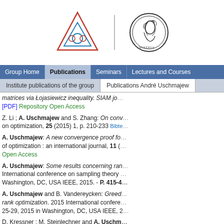[Figure (logo): Two logos side by side: a colored triangle with circles (MPI logo) and a circular medallion with a profile portrait (Minerva logo)]
Group Home | Publications | Seminars | Lectures and Courses
Institute publications of the group | Publications André Uschmajew
matrices via Łojasiewicz inequality. SIAM jo...
[PDF] Repository Open Access
Z. Li ; A. Uschmajew and S. Zhang: On conv... on optimization, 25 (2015) 1, p. 210-233 Bibte...
A. Uschmajew: A new convergence proof fo... of optimization : an international journal, 11 (... Open Access
A. Uschmajew: Some results concerning ran... International conference on sampling theory ... Washington, DC, USA IEEE, 2015. - P. 415-4...
A. Uschmajew and B. Vandereycken: Greed... rank optimization. 2015 International confere... 25-29, 2015 in Washington, DC, USA IEEE, 2...
D. Kressner ; M. Steinlechner and A. Uschm... symmetric eigenvalue problems. SIAM jou...